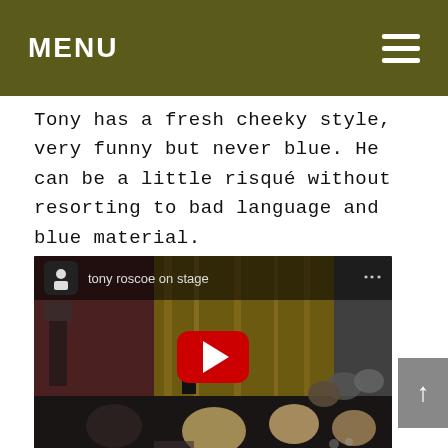MENU
Tony has a fresh cheeky style, very funny but never blue. He can be a little risqué without resorting to bad language and blue material.
[Figure (screenshot): YouTube video thumbnail showing Tony Roscoe performing on stage before an audience, with title 'tony roscoe on stage' and a red play button overlay]